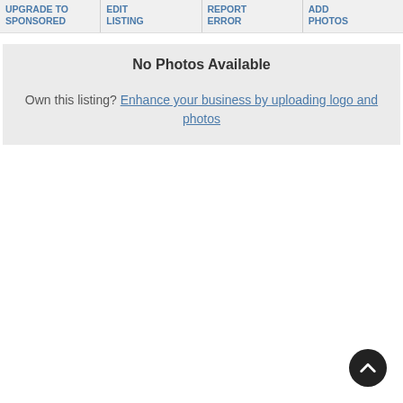UPGRADE TO SPONSORED
EDIT LISTING
REPORT ERROR
ADD PHOTOS
No Photos Available
Own this listing? Enhance your business by uploading logo and photos
[Figure (other): Back to top chevron button, dark circular icon with upward arrow]